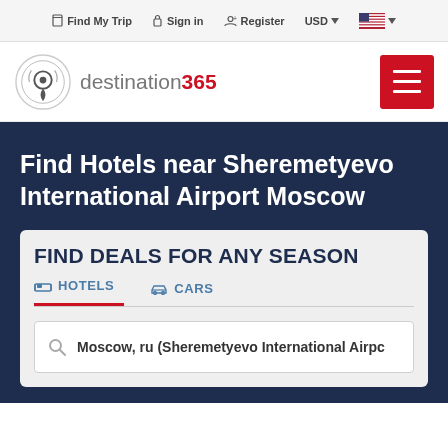Find My Trip  Sign in  Register  USD  [US Flag]
[Figure (logo): destination365 logo with circular map pin icon]
Find Hotels near Sheremetyevo International Airport Moscow
FIND DEALS FOR ANY SEASON
HOTELS  CARS
Moscow, ru (Sheremetyevo International Airpo